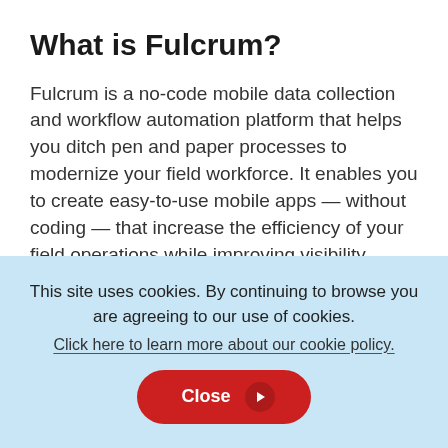What is Fulcrum?
Fulcrum is a no-code mobile data collection and workflow automation platform that helps you ditch pen and paper processes to modernize your field workforce. It enables you to create easy-to-use mobile apps — without coding — that increase the efficiency of your field operations while improving visibility, communication, and documentation so you can ensure the safety and
This site uses cookies. By continuing to browse you are agreeing to our use of cookies.
Click here to learn more about our cookie policy.
Close